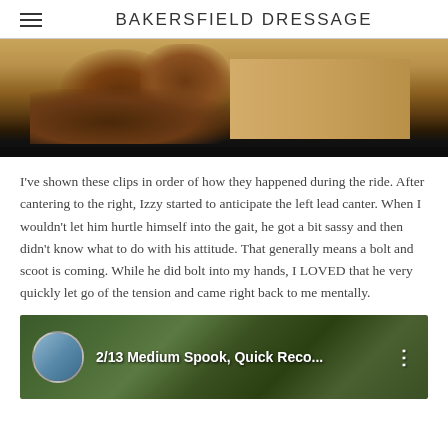BAKERSFIELD DRESSAGE
[Figure (photo): A brown horse with a rider cantering on a sandy arena, viewed from the side. Black bar at the bottom of the image.]
I've shown these clips in order of how they happened during the ride. After cantering to the right, Izzy started to anticipate the left lead canter. When I wouldn't let him hurtle himself into the gait, he got a bit sassy and then didn't know what to do with his attitude. That generally means a bolt and scoot is coming. While he did bolt into my hands, I LOVED that he very quickly let go of the tension and came right back to me mentally.
[Figure (screenshot): A video thumbnail showing a dressage horse and rider with a circular avatar on the left and the title '2/13 Medium Spook, Quick Reco...' overlaid. Three-dot menu icon on the right. Background shows brown brush/vegetation.]